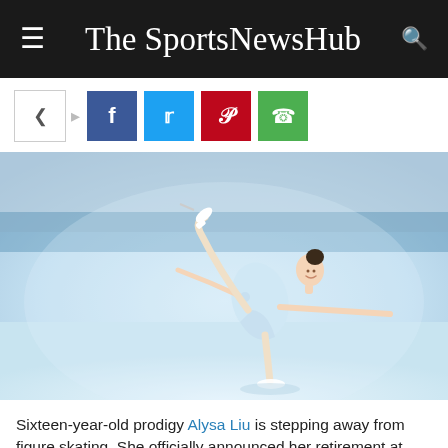The SportsNewsHub
[Figure (photo): Figure skater in white/light blue dress performing a spiral or layback move on ice, with one leg raised high and arms outstretched, at what appears to be a major competition arena with blurred audience in the background.]
Sixteen-year-old prodigy Alysa Liu is stepping away from figure skating. She officially announced her retirement at...